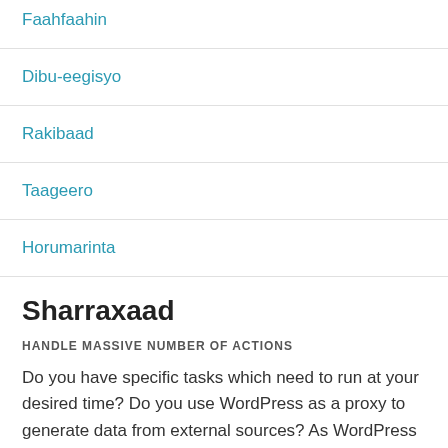Faahfaahin
Dibu-eegisyo
Rakibaad
Taageero
Horumarinta
Sharraxaad
HANDLE MASSIVE NUMBER OF ACTIONS
Do you have specific tasks which need to run at your desired time? Do you use WordPress as a proxy to generate data from external sources? As WordPress has evolved into a phase of application platforms, a more enhanced task management system needed to